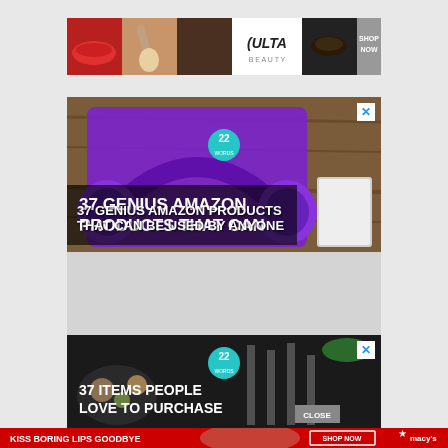[Figure (screenshot): Ulta Beauty advertisement banner showing beauty product images (red lips, makeup brush, eye makeup, Ulta logo, eye makeup strip) with SHOP NOW text on dark background]
[Figure (screenshot): Advertisement banner showing purple headphones on wooden surface with teal badge showing '22' and bold white text '37 GENIUS AMAZON PRODUCTS THAT CAN BE USED BY ANYONE', with blue X close button]
[Figure (screenshot): Advertisement banner showing food items on dark background with teal badge showing '22' and bold white text '37 ITEMS PEOPLE LOVE TO PURCHASE', with CLOSE button and blue X close button]
[Figure (screenshot): Macy's advertisement bar with red background showing woman with red lips, text 'KISS BORING LIPS GOODBYE', SHOP NOW button, and Macy's star logo]